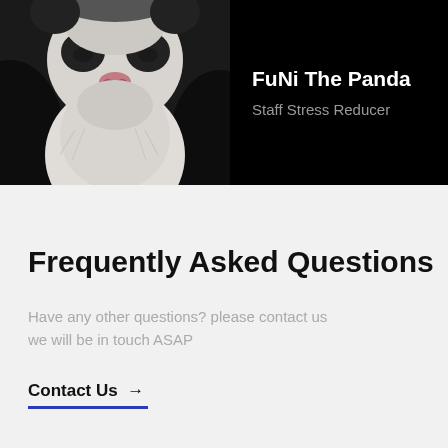[Figure (photo): Close-up photo of a giant panda (FuNi) from the chest/face area, black and white fur, on dark background]
FuNi The Panda
Staff Stress Reducer
Frequently Asked Questions
Have any other questions? please contact us we will be in touch ASAP
Contact Us →